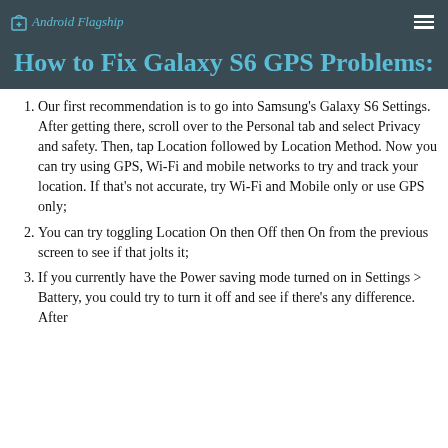Android Flagship
How to Fix Galaxy S6 GPS Problems:
Our first recommendation is to go into Samsung's Galaxy S6 Settings. After getting there, scroll over to the Personal tab and select Privacy and safety. Then, tap Location followed by Location Method. Now you can try using GPS, Wi-Fi and mobile networks to try and track your location. If that's not accurate, try Wi-Fi and Mobile only or use GPS only;
You can try toggling Location On then Off then On from the previous screen to see if that jolts it;
If you currently have the Power saving mode turned on in Settings > Battery, you could try to turn it off and see if there's any difference. After